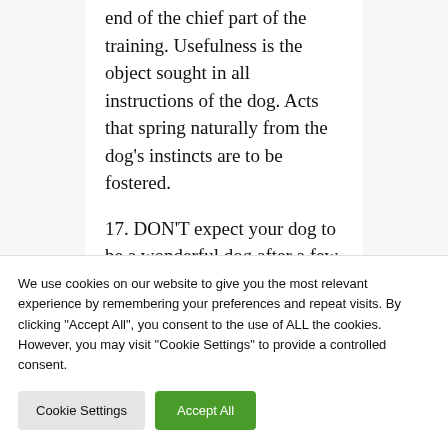end of the chief part of the training. Usefulness is the object sought in all instructions of the dog. Acts that spring naturally from the dog's instincts are to be fostered.
17. DON'T expect your dog to be a wonderful dog after a few weeks of training; four months to a year may be necessary in order to make the master proud of him, but the work is
We use cookies on our website to give you the most relevant experience by remembering your preferences and repeat visits. By clicking "Accept All", you consent to the use of ALL the cookies. However, you may visit "Cookie Settings" to provide a controlled consent.